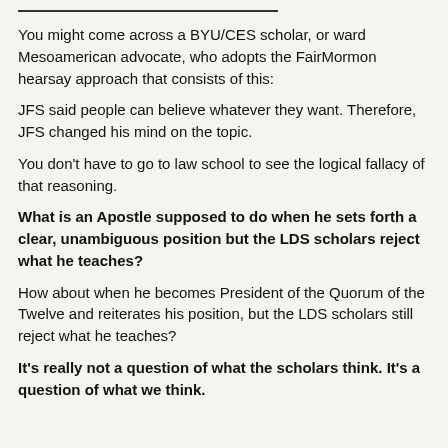You might come across a BYU/CES scholar, or ward Mesoamerican advocate, who adopts the FairMormon hearsay approach that consists of this:
JFS said people can believe whatever they want. Therefore, JFS changed his mind on the topic.
You don't have to go to law school to see the logical fallacy of that reasoning.
What is an Apostle supposed to do when he sets forth a clear, unambiguous position but the LDS scholars reject what he teaches?
How about when he becomes President of the Quorum of the Twelve and reiterates his position, but the LDS scholars still reject what he teaches?
It's really not a question of what the scholars think. It's a question of what we think.